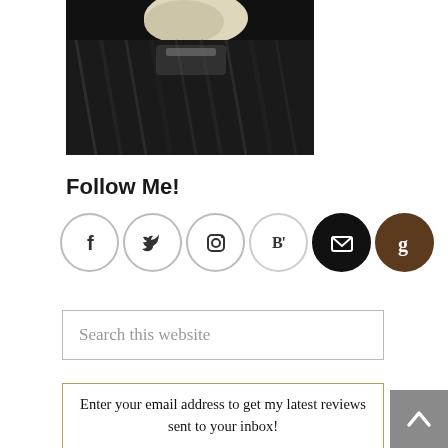[Figure (photo): Partial photo of a person with blonde/white hair wearing a dark fur coat, cropped at top portion of image]
Follow Me!
[Figure (infographic): Row of social media icon circles: Facebook (f), Twitter (bird), Instagram (camera), Bloglovin (B'), Email (envelope, black fill), Goodreads (g, brown fill)]
Search this website
Enter your email address to get my latest reviews sent to your inbox!